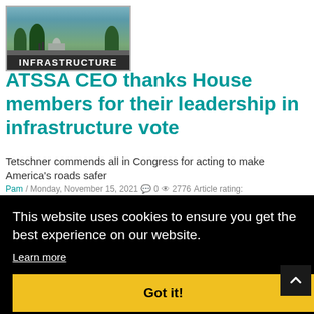[Figure (photo): Infrastructure banner image showing U.S. Capitol building with text overlay reading INFRASTRUCTURE]
ATSSA CEO thanks House members for their leadership in infrastructure vote
Tetschner commends all in Congress for acting to make America's roads safer
Pam / Monday, November 15, 2021   0   2776   Article rating:
This website uses cookies to ensure you get the best experience on our website.
Learn more
Got it!
and did the job we asked them to do.